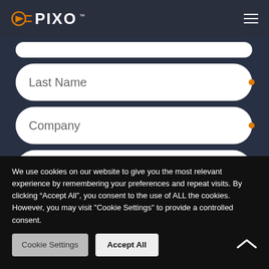PIXO
[Figure (screenshot): Form fields for Last Name, Company, and Title on a dark navy background with white rounded input fields]
We use cookies on our website to give you the most relevant experience by remembering your preferences and repeat visits. By clicking “Accept All”, you consent to the use of ALL the cookies. However, you may visit "Cookie Settings" to provide a controlled consent.
Cookie Settings
Accept All